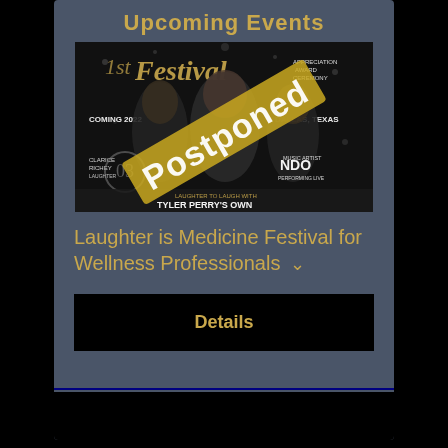Upcoming Events
[Figure (photo): Event promotional image for a festival showing three people against a dark background with gold text. A large yellow/gold diagonal 'Postponed' stamp overlays the image. Text includes 'COMING 2022', 'DALLAS, TEXAS', 'MUSIC ARTIST NDO PERFORMING LIVE', 'LAUGHTER TO LAUGH WITH TYLER PERRY'S OWN', 'APPRECIATION AWARD CEREMONY']
Laughter is Medicine Festival for Wellness Professionals ∨
Details